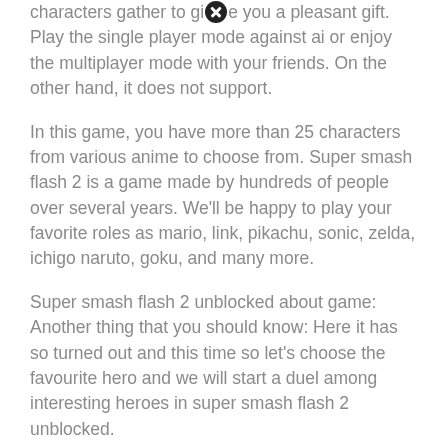characters gather to give you a pleasant gift. Play the single player mode against ai or enjoy the multiplayer mode with your friends. On the other hand, it does not support.
In this game, you have more than 25 characters from various anime to choose from. Super smash flash 2 is a game made by hundreds of people over several years. We'll be happy to play your favorite roles as mario, link, pikachu, sonic, zelda, ichigo naruto, goku, and many more.
Super smash flash 2 unblocked about game: Another thing that you should know: Here it has so turned out and this time so let's choose the favourite hero and we will start a duel among interesting heroes in super smash flash 2 unblocked.
It also contains some unique smash fighters like